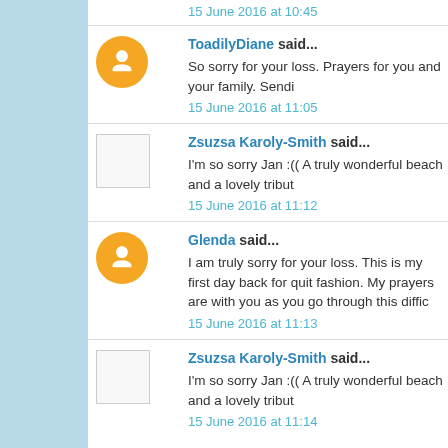15 June 2016 at 10:45
ToadilyDiane said...
So sorry for your loss. Prayers for you and your family. Sendi
15 June 2016 at 11:05
Zsuzsa Karoly-Smith said...
I'm so sorry Jan :(( A truly wonderful beach and a lovely tribut
15 June 2016 at 11:12
Glenda said...
I am truly sorry for your loss. This is my first day back for quit fashion. My prayers are with you as you go through this diffic
15 June 2016 at 11:13
Zsuzsa Karoly-Smith said...
I'm so sorry Jan :(( A truly wonderful beach and a lovely tribut
15 June 2016 at 11:14